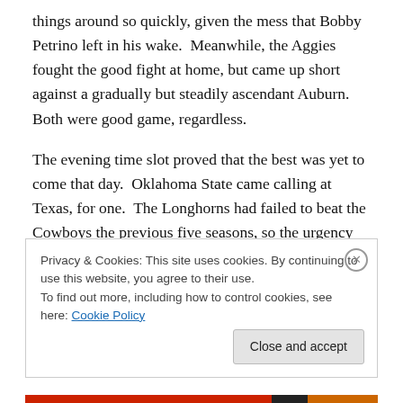things around so quickly, given the mess that Bobby Petrino left in his wake.  Meanwhile, the Aggies fought the good fight at home, but came up short against a gradually but steadily ascendant Auburn.  Both were good game, regardless.
The evening time slot proved that the best was yet to come that day.  Oklahoma State came calling at Texas, for one.  The Longhorns had failed to beat the Cowboys the previous five seasons, so the urgency was clearly there to get that proverbial monkey off the Horns' collective back.
Privacy & Cookies: This site uses cookies. By continuing to use this website, you agree to their use.
To find out more, including how to control cookies, see here: Cookie Policy